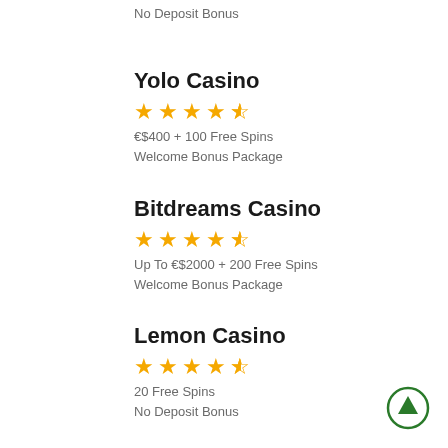No Deposit Bonus
Yolo Casino
[Figure (other): 4.5 star rating (4 full stars, 1 half star)]
€$400 + 100 Free Spins
Welcome Bonus Package
Bitdreams Casino
[Figure (other): 4.5 star rating (4 full stars, 1 half star)]
Up To €$2000 + 200 Free Spins
Welcome Bonus Package
Lemon Casino
[Figure (other): 4.5 star rating (4 full stars, 1 half star)]
20 Free Spins
No Deposit Bonus